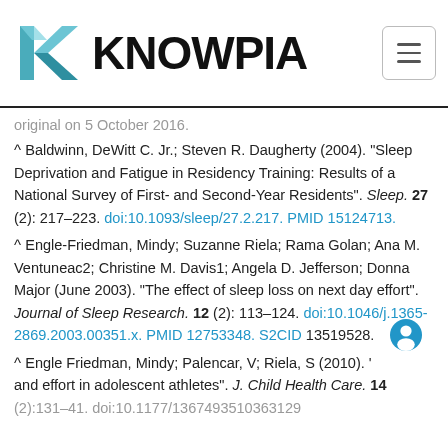KNOWPIA
original on 5 October 2016.
^ Baldwinn, DeWitt C. Jr.; Steven R. Daugherty (2004). "Sleep Deprivation and Fatigue in Residency Training: Results of a National Survey of First- and Second-Year Residents". Sleep. 27 (2): 217–223. doi:10.1093/sleep/27.2.217. PMID 15124713.
^ Engle-Friedman, Mindy; Suzanne Riela; Rama Golan; Ana M. Ventuneac2; Christine M. Davis1; Angela D. Jefferson; Donna Major (June 2003). "The effect of sleep loss on next day effort". Journal of Sleep Research. 12 (2): 113–124. doi:10.1046/j.1365-2869.2003.00351.x. PMID 12753348. S2CID 13519528.
^ Engle Friedman, Mindy; Palencar, V; Riela, S (2010). '...and effort in adolescent athletes". J. Child Health Care. 14 (2):131–41. doi:10.1177/1367493510363129